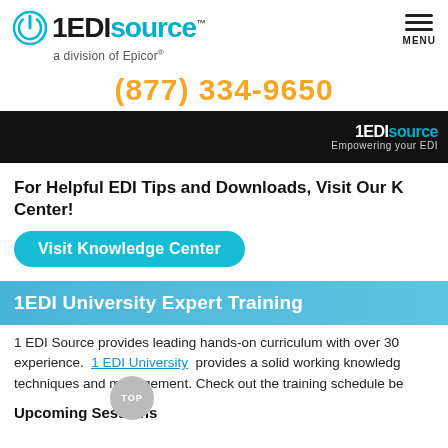[Figure (logo): 1EDI Source logo - power icon with '1EDI' in black bold and 'source' in teal, with 'a division of Epicor' subtitle]
(877) 334-9650
[Figure (screenshot): Black banner with 1EDI Source logo in white/teal and tagline 'Empowering your EDI']
For Helpful EDI Tips and Downloads, Visit Our Knowledge Center!
Visit Knowledge Center
1EDI University Expert Training
1 EDI Source provides leading hands-on curriculum with over 30 experience. 1 EDI University provides a solid working knowledge techniques and management. Check out the training schedule be
Upcoming Sessions